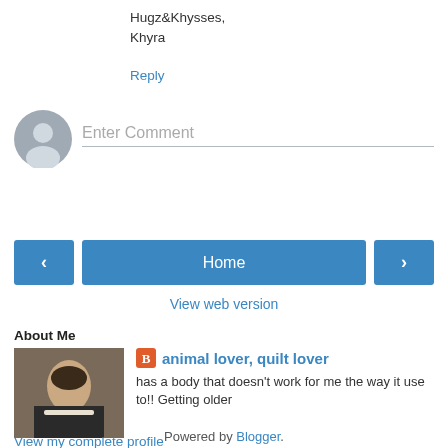Hugz&Khysses,
Khyra
Reply
[Figure (illustration): Default user avatar circle with silhouette icon]
Enter Comment
‹
Home
›
View web version
About Me
[Figure (photo): Profile photo of a woman]
animal lover, quilt lover
has a body that doesn't work for me the way it use to!! Getting older
View my complete profile
Powered by Blogger.